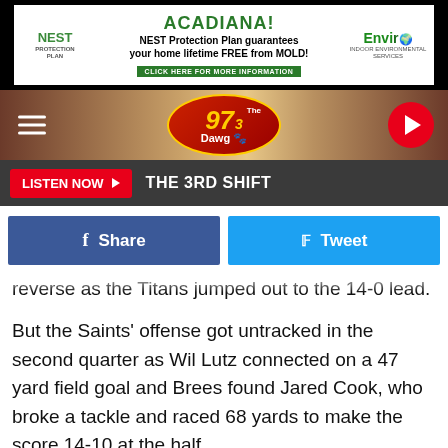[Figure (screenshot): NEST / ACADIANA ad banner with green text and Enviro logo]
[Figure (logo): 97.3 The Dawg radio station logo in red oval with yellow text, navigation bar with hamburger menu and play button]
[Figure (screenshot): Listen Now button with THE 3RD SHIFT label in dark bar]
[Figure (screenshot): Facebook Share and Twitter Tweet social buttons]
reverse as the Titans jumped out to the 14-0 lead.
But the Saints' offense got untracked in the second quarter as Wil Lutz connected on a 47 yard field goal and Brees found Jared Cook, who broke a tackle and raced 68 yards to make the score 14-10 at the half.
Kamara found the end zone on runs of 40 and one yard to give New Orleans a 24-14 lead midway through the third quarter.  Tannehill found Tajae Sharpe on a 36 yard strike to